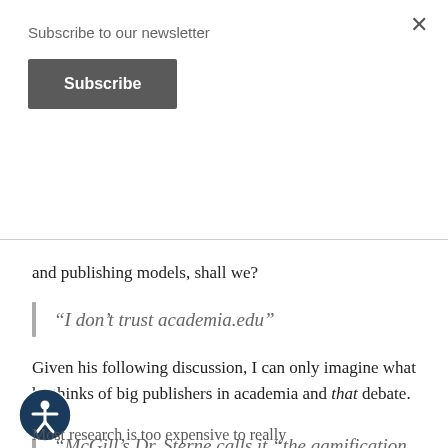Subscribe to our newsletter
Subscribe
and publishing models, shall we?
“I don’t trust academia.edu”
Given his following discussion, I can only imagine what he thinks of big publishers in academia and that debate.
“McGill’s Dr. Sterne calls it “the gamification of research,”
Most research is too expensive to really